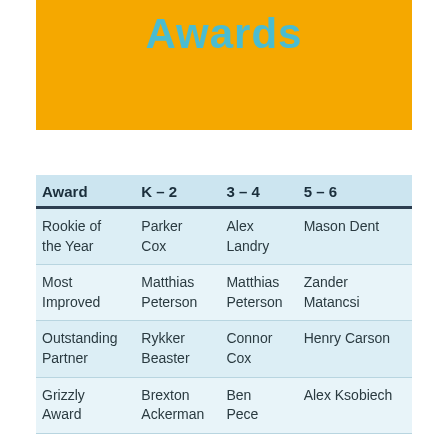Awards
| Award | K – 2 | 3 – 4 | 5 – 6 |
| --- | --- | --- | --- |
| Rookie of the Year | Parker Cox | Alex Landry | Mason Dent |
| Most Improved | Matthias Peterson | Matthias Peterson | Zander Matancsi |
| Outstanding Partner | Rykker Beaster | Connor Cox | Henry Carson |
| Grizzly Award | Brexton Ackerman | Ben Pece | Alex Ksobiech |